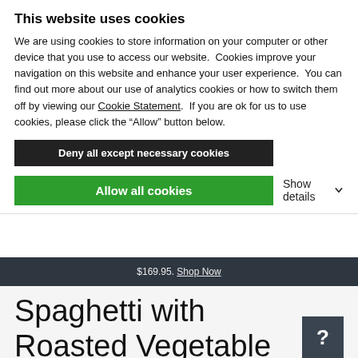This website uses cookies
We are using cookies to store information on your computer or other device that you use to access our website.  Cookies improve your navigation on this website and enhance your user experience.  You can find out more about our use of analytics cookies or how to switch them off by viewing our Cookie Statement.  If you are ok for us to use cookies, please click the “Allow” button below.
Deny all except necessary cookies
Allow all cookies
Show details
$169.95. Shop Now
Spaghetti with Roasted Vegetable Sauce
A medley of robust flavor, this sauce is puréed perfection. Enjoy over a bed of pasta and top as desired.